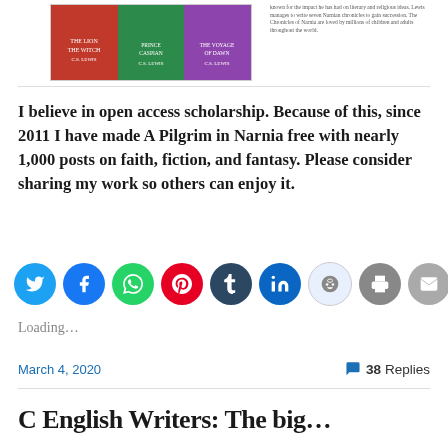[Figure (photo): Book cover image of The Chronicles of Narnia with small text snippet to the right describing C.S. Lewis and Narnia]
I believe in open access scholarship. Because of this, since 2011 I have made A Pilgrim in Narnia free with nearly 1,000 posts on faith, fiction, and fantasy. Please consider sharing my work so others can enjoy it.
[Figure (infographic): Row of social media sharing buttons: Twitter, Facebook, WhatsApp, Pinterest, Tumblr, LinkedIn, Reddit, Print, Email]
Loading...
March 4, 2020
38 Replies
C English Writers: The big...